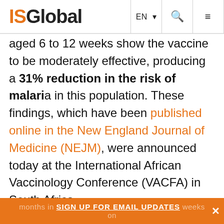ISGlobal | EN | Search | Menu
aged 6 to 12 weeks show the vaccine to be moderately effective, producing a 31% reduction in the risk of malaria in this population. These findings, which have been published online in the New England Journal of Medicine (NEJM), were announced today at the International African Vaccinology Conference (VACFA) in South Africa.
Efficacy and safety was monitored for 12 months in infants aged 6 to 12 weeks on
SIGN UP FOR EMAIL UPDATES